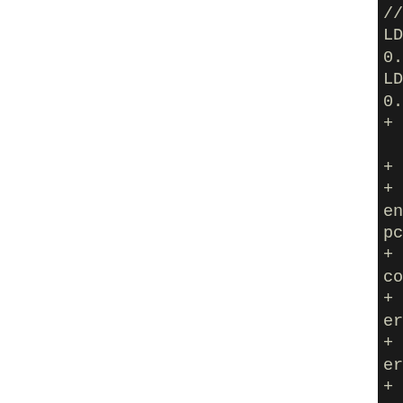//lin_tape.mod.o
LD [M] /tmp/B.wajdt2cx/BU0.57/pfo.ko
LD [M] /tmp/B.wajdt2cx/BU0.57/lin_tape.ko
+ CC=x86_64-pld-linux-gcc
+ '[' -r /usr/src/linux-4
+ rm -rf o
+ install -d o/include/lin
enerated o/arch/x86/include/pc/lib
+ ln -sf /usr/src/linux-4
config
+ ln -sf /usr/src/linux-4
ers o/Module.symvers
+ '[' -f /usr/src/linux-4
erated/autoconf.h ']'
+ ln -sf /usr/src/linux-4
erated/autoconf.h o/include/toconf.h
+ ln -s ../generated/autoe/linux/autoconf.h
+ '[' -d /usr/src/linux-4
clude/generated ']'